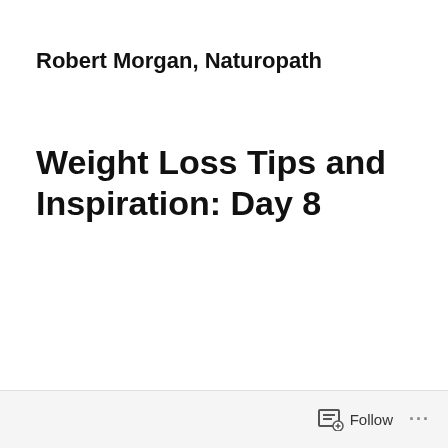Robert Morgan, Naturopath
Weight Loss Tips and Inspiration: Day 8
Follow ...